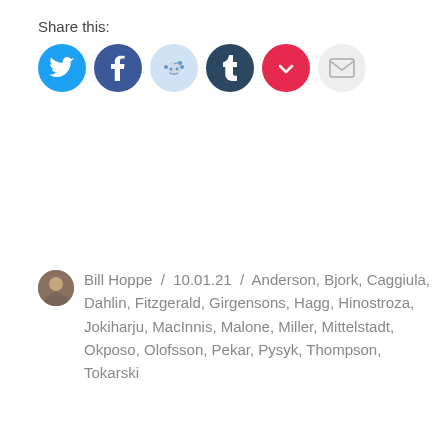Share this:
[Figure (other): Row of social share icon buttons: Twitter (blue), Facebook (blue), Reddit (light blue/grey), Tumblr (dark navy), Pocket (red), Email (grey)]
Bill Hoppe / 10.01.21 / Anderson, Bjork, Caggiula, Dahlin, Fitzgerald, Girgensons, Hagg, Hinostroza, Jokiharju, MacInnis, Malone, Miller, Mittelstadt, Okposo, Olofsson, Pekar, Pysyk, Thompson, Tokarski